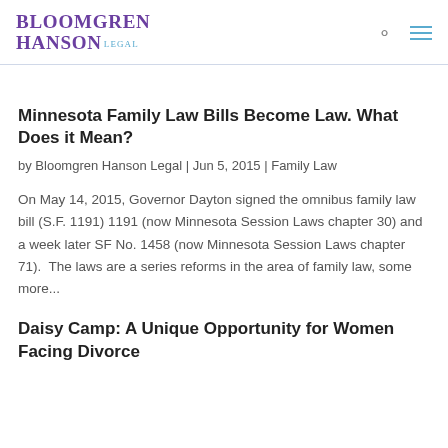Bloomgren Hanson Legal
Minnesota Family Law Bills Become Law. What Does it Mean?
by Bloomgren Hanson Legal | Jun 5, 2015 | Family Law
On May 14, 2015, Governor Dayton signed the omnibus family law bill (S.F. 1191) 1191 (now Minnesota Session Laws chapter 30) and a week later SF No. 1458 (now Minnesota Session Laws chapter 71).  The laws are a series reforms in the area of family law, some more...
Daisy Camp: A Unique Opportunity for Women Facing Divorce